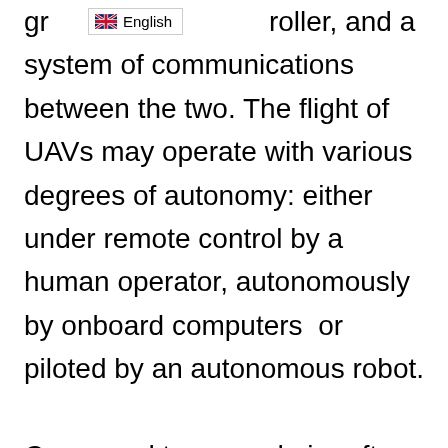[Figure (other): English language selector UI element with UK flag icon]
gr…roller, and a system of communications between the two. The flight of UAVs may operate with various degrees of autonomy: either under remote control by a human operator, autonomously by onboard computers  or piloted by an autonomous robot.

Compared to crewed aircraft, UAVs were originally used for missions too “dull, dirty or dangerous” for humans. While